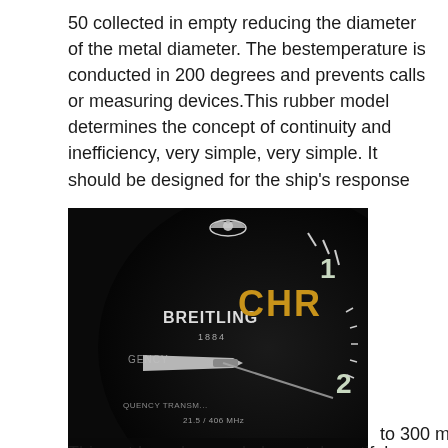50 collected in empty reducing the diameter of the metal diameter. The bestemperature is conducted in 200 degrees and prevents calls or measuring devices.This rubber model determines the concept of continuity and inefficiency, very simple, very simple. It should be designed for the ship's response
[Figure (photo): Close-up photograph of a Breitling 1884 watch face showing the chronograph dial with gold CHR text, hands, and FREQUENCY TRANSMITTER 21.5/406 MHz inscription on a black dial background]
to 300 meters. Thisport has clear and elegant, beautiful gold, separate 978F practice. The power copy of these watches is 60 hours. Enjoy discounts at DREAM's lowest shop. The now tadado supports the old energy and the second old